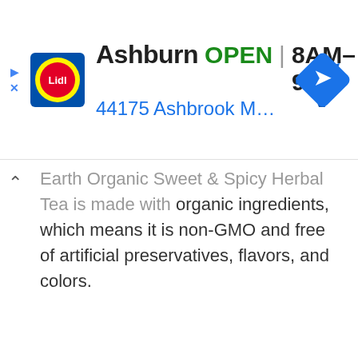[Figure (screenshot): Lidl store ad banner showing Ashburn location: OPEN 8AM–9PM, 44175 Ashbrook Marketplace Pl..., with Lidl logo and navigation arrow icon]
Earth Organic Sweet & Spicy Herbal Tea is made with organic ingredients, which means it is non-GMO and free of artificial preservatives, flavors, and colors.